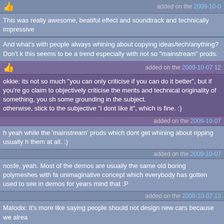added on the 2009-10-0
This was really awesome, beatiful effect and soundtrack and technically impressive
And what's with people always whining about copying ideas/tech/anything? Don't k this seems to be a trend especially with not so "mainstream" prods.
added on the 2009-10-07 12
okkie: its not so much "you can only criticise if you can do it better", but if you're go claim to objectively criticise the merits and technical originality of something, you sh some grounding in the subject.
otherwise, stick to the subjective "i dont like it", which is fine. :)
added on the 2009-10-07
h yeah while the 'mainstream' prods which dont get whining about ripping usually h them at all. :)
added on the 2009-10-07
nosfe, yeah. Most of the demos are usually the same old boring polymeshes with fa unimaginative concept which everybody has gotten used to see in demos for years mind that :P
added on the 2009-10-07 13
Malodix: it's more like saying people should not design new cars because we alrea

Culture is an evolutionary process and people have inspired each other throughout rarely, if ever, completely new.

I think Xem is just pure bloodyminded. I wouldn't look at a painters magnum opus a dozens of dudes in suits of armour before so it's bullshit!" Okkie's right but I think y basic understanding of the medium and its constraints in order to appreciate how i is.